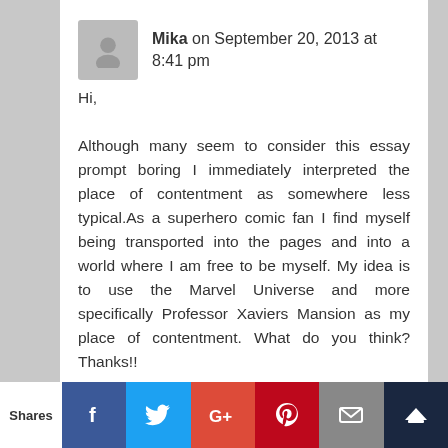Mika on September 20, 2013 at 8:41 pm
Hi,

Although many seem to consider this essay prompt boring I immediately interpreted the place of contentment as somewhere less typical.As a superhero comic fan I find myself being transported into the pages and into a world where I am free to be myself. My idea is to use the Marvel Universe and more specifically Professor Xaviers Mansion as my place of contentment. What do you think? Thanks!!
Reply
Shares | Facebook | Twitter | Google+ | Pinterest | Email | Crown